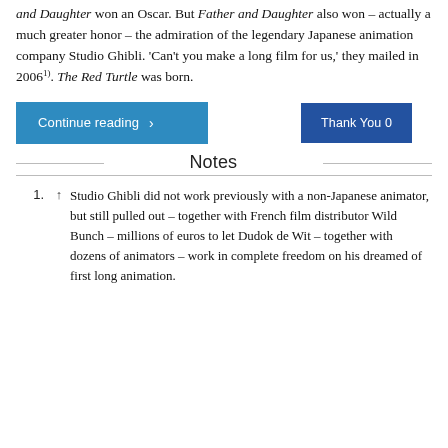and Daughter won an Oscar. But Father and Daughter also won – actually a much greater honor – the admiration of the legendary Japanese animation company Studio Ghibli. 'Can't you make a long film for us,' they mailed in 2006¹. The Red Turtle was born.
Continue reading ›
Thank You 0
Notes
Studio Ghibli did not work previously with a non-Japanese animator, but still pulled out – together with French film distributor Wild Bunch – millions of euros to let Dudok de Wit – together with dozens of animators – work in complete freedom on his dreamed of first long animation.